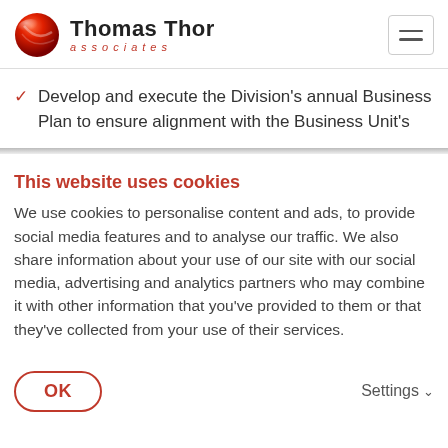[Figure (logo): Thomas Thor Associates logo with red sphere and company name]
Develop and execute the Division's annual Business Plan to ensure alignment with the Business Unit's
This website uses cookies
We use cookies to personalise content and ads, to provide social media features and to analyse our traffic. We also share information about your use of our site with our social media, advertising and analytics partners who may combine it with other information that you've provided to them or that they've collected from your use of their services.
OK
Settings